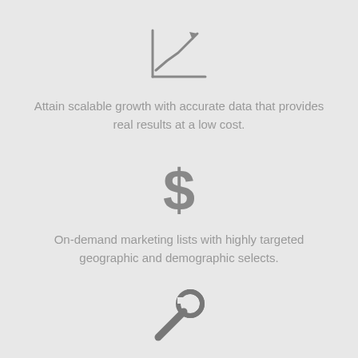[Figure (illustration): Line chart with upward trending arrow icon in gray]
Attain scalable growth with accurate data that provides real results at a low cost.
[Figure (illustration): Dollar sign icon in gray]
On-demand marketing lists with highly targeted geographic and demographic selects.
[Figure (illustration): Wrench tool icon in gray]
A direct line to decision makers. Quickly feed your